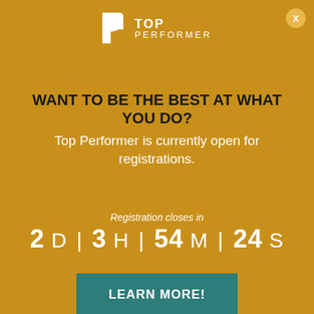[Figure (logo): Top Performer logo with white P icon and TOP PERFORMER text]
WANT TO BE THE BEST AT WHAT YOU DO?
Top Performer is currently open for registrations.
Registration closes in
2 D | 3 H | 54 M | 24 S
LEARN MORE!
We use cookies to optimize our website and our service.
Accept
Cookie Policy  Privacy Policy